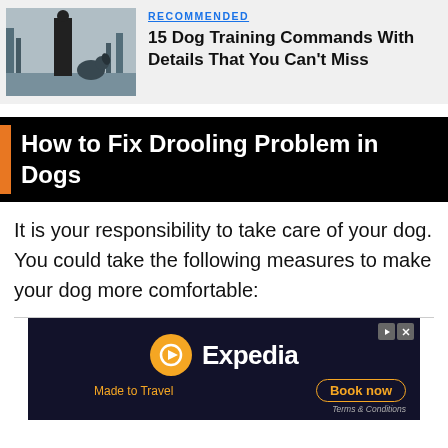[Figure (photo): Photo of a person standing with a dog outdoors with bare trees in background]
RECOMMENDED
15 Dog Training Commands With Details That You Can't Miss
How to Fix Drooling Problem in Dogs
It is your responsibility to take care of your dog. You could take the following measures to make your dog more comfortable:
[Figure (screenshot): Expedia advertisement banner with logo, 'Made to Travel' tagline, and 'Book now' button]